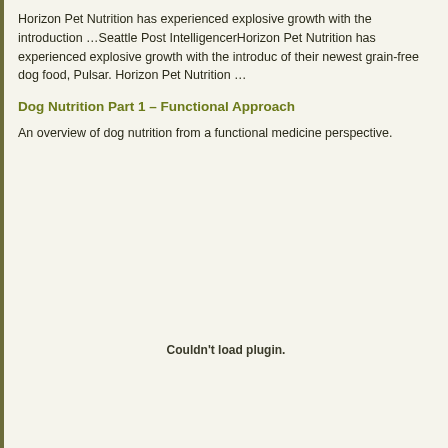Horizon Pet Nutrition has experienced explosive growth with the introduction …Seattle Post IntelligencerHorizon Pet Nutrition has experienced explosive growth with the introduc of their newest grain-free dog food, Pulsar. Horizon Pet Nutrition …
Dog Nutrition Part 1 – Functional Approach
An overview of dog nutrition from a functional medicine perspective.
Couldn't load plugin.